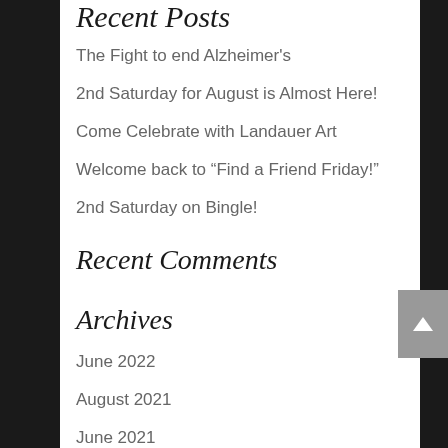Recent Posts
The Fight to end Alzheimer's
2nd Saturday for August is Almost Here!
Come Celebrate with Landauer Art
Welcome back to “Find a Friend Friday!”
2nd Saturday on Bingle!
Recent Comments
Archives
June 2022
August 2021
June 2021
May 2021